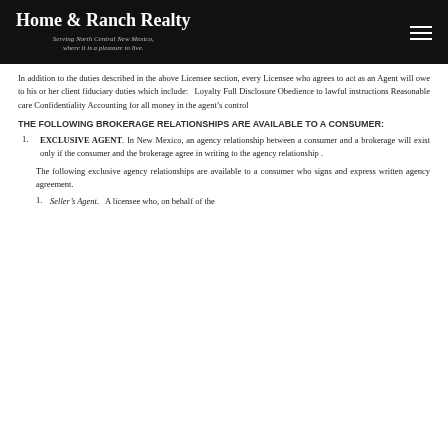Home & Ranch Realty — Serving North Central New Mexico, where it is a pleasure to live.
In addition to the duties described in the above Licensee section, every Licensee who agrees to act as an Agent will owe to his or her client fiduciary duties which include:   Loyalty Full Disclosure Obedience to lawful instructions Reasonable care Confidentiality Accounting for all money in the agent's control
THE FOLLOWING BROKERAGE RELATIONSHIPS ARE AVAILABLE TO A CONSUMER:
EXCLUSIVE AGENT. In New Mexico, an agency relationship between a consumer and a brokerage will exist only if the consumer and the brokerage agree in writing to the agency relationship .
The following exclusive agency relationships are available to a consumer who signs and express written agency agreement.
Seller's Agent.  A licensee who, on behalf of the